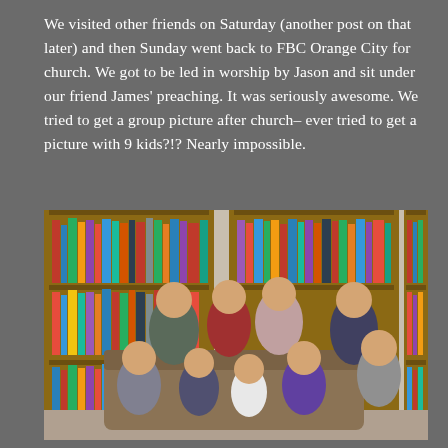We visited other friends on Saturday (another post on that later) and then Sunday went back to FBC Orange City for church. We got to be led in worship by Jason and sit under our friend James' preaching. It was seriously awesome. We tried to get a group picture after church– ever tried to get a picture with 9 kids?!? Nearly impossible.
[Figure (photo): Group photo of 9 children sitting in front of wooden bookshelves filled with books in what appears to be a church library. Four children sit on a couch/bench in the back row and five children are in the front row.]